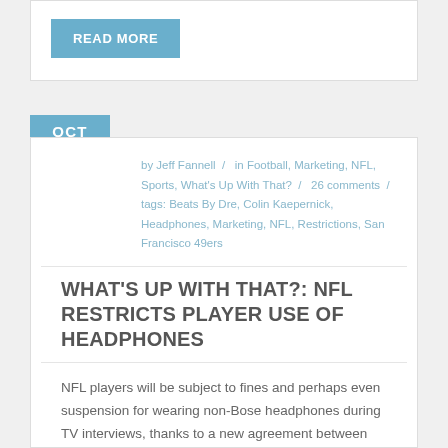READ MORE
OCT 14
by Jeff Fannell / in Football, Marketing, NFL, Sports, What's Up With That? / 26 comments / tags: Beats By Dre, Colin Kaepernick, Headphones, Marketing, NFL, Restrictions, San Francisco 49ers
WHAT'S UP WITH THAT?: NFL RESTRICTS PLAYER USE OF HEADPHONES
NFL players will be subject to fines and perhaps even suspension for wearing non-Bose headphones during TV interviews, thanks to a new agreement between Bose and the NFL. The restriction requires players wearing non-Bose